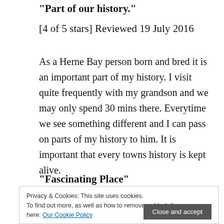“Part of our history.”
[4 of 5 stars] Reviewed 19 July 2016
As a Herne Bay person born and bred it is an important part of my history. I visit quite frequently with my grandson and we may only spend 30 mins there. Everytime we see something different and I can pass on parts of my history to him. It is important that every towns history is kept alive.
“Fascinating Place”
from Gus
Privacy & Cookies: This site uses cookies. To find out more, as well as how to remove or block these, see here: Our Cookie Policy
Close and accept